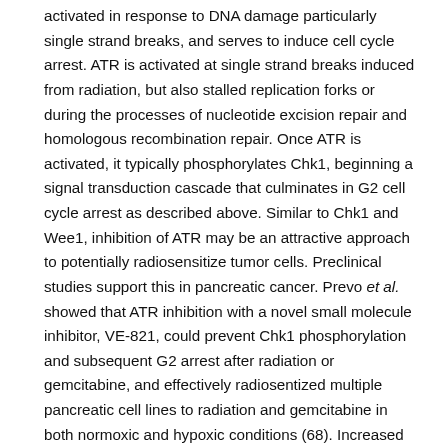activated in response to DNA damage particularly single strand breaks, and serves to induce cell cycle arrest. ATR is activated at single strand breaks induced from radiation, but also stalled replication forks or during the processes of nucleotide excision repair and homologous recombination repair. Once ATR is activated, it typically phosphorylates Chk1, beginning a signal transduction cascade that culminates in G2 cell cycle arrest as described above. Similar to Chk1 and Wee1, inhibition of ATR may be an attractive approach to potentially radiosensitize tumor cells. Preclinical studies support this in pancreatic cancer. Prevo et al. showed that ATR inhibition with a novel small molecule inhibitor, VE-821, could prevent Chk1 phosphorylation and subsequent G2 arrest after radiation or gemcitabine, and effectively radiosentized multiple pancreatic cell lines to radiation and gemcitabine in both normoxic and hypoxic conditions (68). Increased DNA damage and inhibition of homologous recombination repair was observed. Similarly, a study by Fokas et al. showed that treatment of pancreatic cancer cells with an